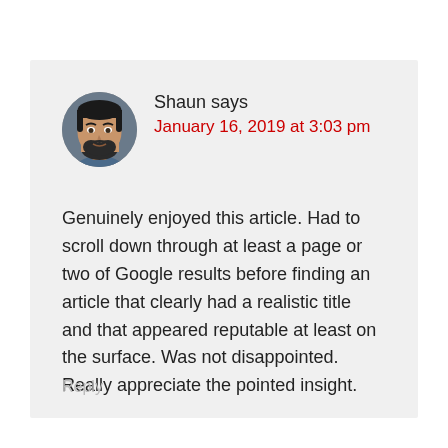[Figure (photo): Avatar photo of commenter Shaun, a young man with dark hair and beard, shown from shoulders up.]
Shaun says
January 16, 2019 at 3:03 pm
Genuinely enjoyed this article. Had to scroll down through at least a page or two of Google results before finding an article that clearly had a realistic title and that appeared reputable at least on the surface. Was not disappointed. Really appreciate the pointed insight.
Reply